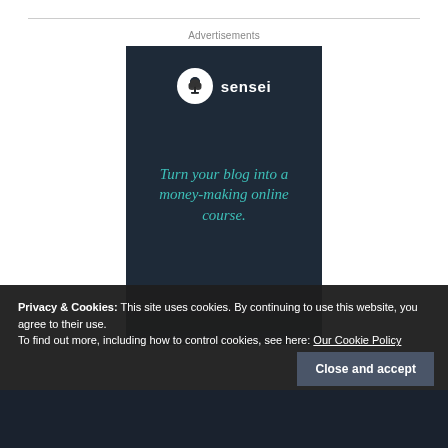Advertisements
[Figure (advertisement): Sensei brand advertisement on dark navy background. Logo: white circle with bonsai tree icon, text 'sensei' in white. Tagline in teal/turquoise italic text: 'Turn your blog into a money-making online course.']
Privacy & Cookies: This site uses cookies. By continuing to use this website, you agree to their use.
To find out more, including how to control cookies, see here: Our Cookie Policy
Close and accept